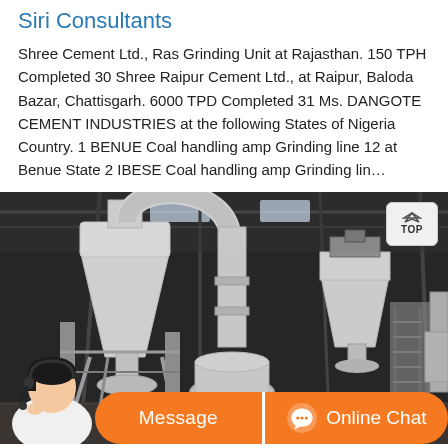Siri Consultants
Shree Cement Ltd., Ras Grinding Unit at Rajasthan. 150 TPH Completed 30 Shree Raipur Cement Ltd., at Raipur, Baloda Bazar, Chattisgarh. 6000 TPD Completed 31 Ms. DANGOTE CEMENT INDUSTRIES at the following States of Nigeria Country. 1 BENUE Coal handling amp Grinding line 12 at Benue State 2 IBESE Coal handling amp Grinding lin…
[Figure (photo): Industrial grinding/milling plant interior showing large white cyclone dust collectors, conveyor pipes, and processing equipment in a factory hall with metal roof structure. A customer service representative (woman with headset) is overlaid at bottom left. Chat bar at bottom with Message and Online Chat buttons.]